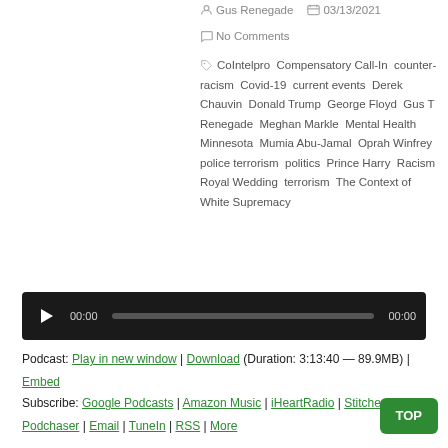Gus Renegade  03/13/2021
No Comments
CoIntelpro  Compensatory Call-In  counter-racism  Covid-19  current events  Derek Chauvin  Donald Trump  George Floyd  Gus T Renegade  Meghan Markle  Mental Health  Minnesota  Mumia Abu-Jamal  Oprah Winfrey  police terrorism  politics  Prince Harry  Racism  Royal Wedding  terrorism  The Context of White Supremacy
[Figure (other): Audio player bar with play button, 00:00 current time, progress bar, and 00:00 duration]
Podcast: Play in new window | Download (Duration: 3:13:40 — 89.9MB) | Embed
Subscribe: Google Podcasts | Amazon Music | iHeartRadio | Stitcher | Podchaser | Email | TuneIn | RSS | More